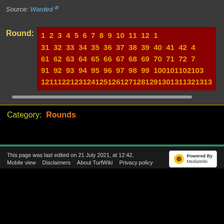Source: Warded
| Round: | 1 2 3 4 5 6 7 8 9 10 11 12 1... | 31 32 33 34 35 36 37 38 39 40 41 42 4... | 61 62 63 64 65 66 67 68 69 70 71 72 7... | 91 92 93 94 95 96 97 98 99 100 101 102 10... | 121 122 123 124 125 126 127 128 129 130 131 132 13... |
| --- | --- | --- | --- | --- | --- |
Category:  Rounds
This page was last edited on 21 July 2021, at 12:42. Mobile view  Disclaimers  About TurfWiki  Privacy policy